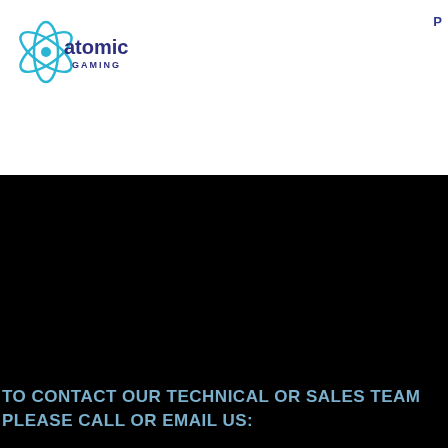[Figure (logo): Atomic Gaming logo with atom graphic and blue/purple text]
P
TO CONTACT OUR TECHNICAL OR SALES TEAM PLEASE CALL OR EMAIL US:
Tel: +27 (0) 11 514 5100
Email: solutions@atomicgaming.co.za